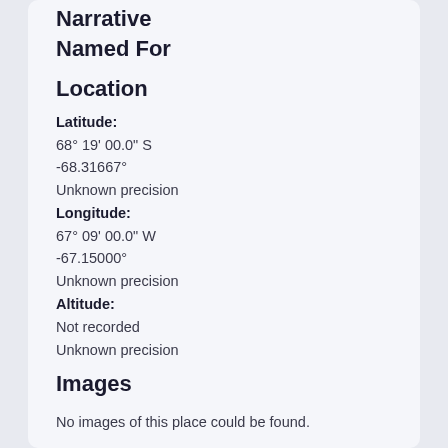Narrative
Named For
Location
Latitude:
68° 19' 00.0" S
-68.31667°
Unknown precision
Longitude:
67° 09' 00.0" W
-67.15000°
Unknown precision
Altitude:
Not recorded
Unknown precision
Images
No images of this place could be found.
Map